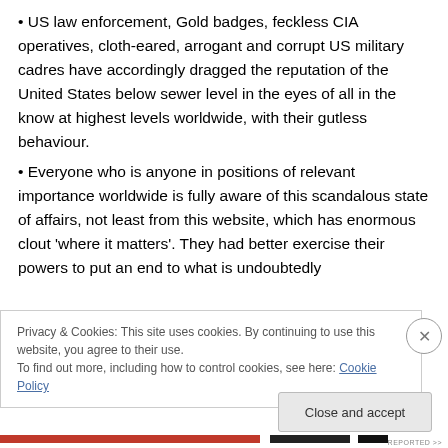• US law enforcement, Gold badges, feckless CIA operatives, cloth-eared, arrogant and corrupt US military cadres have accordingly dragged the reputation of the United States below sewer level in the eyes of all in the know at highest levels worldwide, with their gutless behaviour.
• Everyone who is anyone in positions of relevant importance worldwide is fully aware of this scandalous state of affairs, not least from this website, which has enormous clout 'where it matters'. They had better exercise their powers to put an end to what is undoubtedly
Privacy & Cookies: This site uses cookies. By continuing to use this website, you agree to their use.
To find out more, including how to control cookies, see here: Cookie Policy
Close and accept